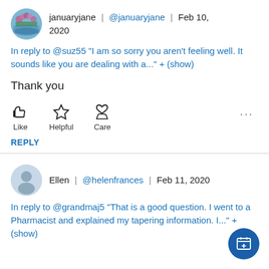januaryjane | @januaryjane | Feb 10, 2020
In reply to @suz55 "I am so sorry you aren't feeling well. It sounds like you are dealing with a..." + (show)
Thank you
[Figure (other): Social media action icons: Like (thumbs up), Helpful (star), Care (hand with heart), and a more options dots button]
REPLY
Ellen | @helenfrances | Feb 11, 2020
In reply to @grandmaj5 "That is a good question. I went to a Pharmacist and explained my tapering information. I..." + (show)
[Figure (other): Blue circular FAB button with calendar/add icon]